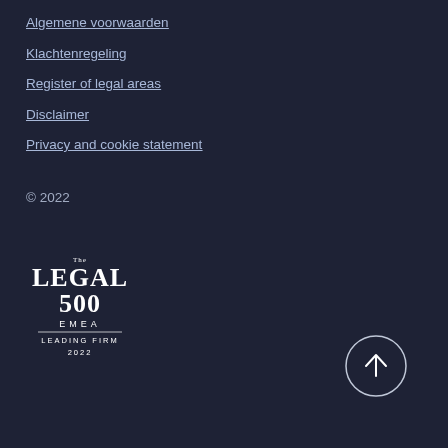Algemene voorwaarden
Klachtenregeling
Register of legal areas
Disclaimer
Privacy and cookie statement
© 2022
[Figure (logo): The Legal 500 EMEA Leading Firm 2022 badge/logo in white on dark background]
[Figure (other): Circular scroll-to-top button with upward arrow]